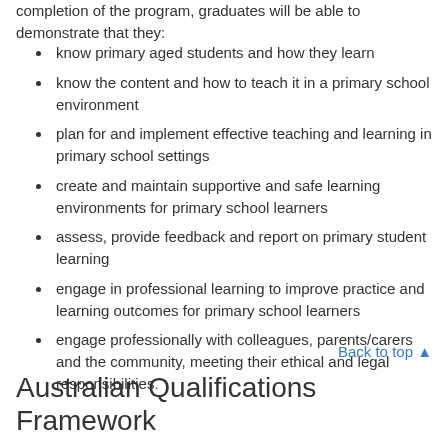completion of the program, graduates will be able to demonstrate that they:
know primary aged students and how they learn
know the content and how to teach it in a primary school environment
plan for and implement effective teaching and learning in primary school settings
create and maintain supportive and safe learning environments for primary school learners
assess, provide feedback and report on primary student learning
engage in professional learning to improve practice and learning outcomes for primary school learners
engage professionally with colleagues, parents/carers and the community, meeting their ethical and legal responsibilities.
Back to top ▲
Australian Qualifications Framework